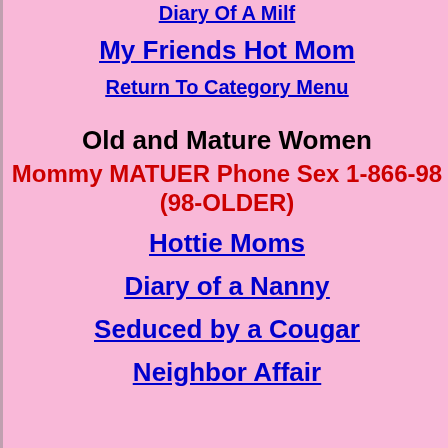Diary Of A Milf
My Friends Hot Mom
Return To Category Menu
Old and Mature Women
Mommy MATUER Phone Sex 1-866-98 (98-OLDER)
Hottie Moms
Diary of a Nanny
Seduced by a Cougar
Neighbor Affair